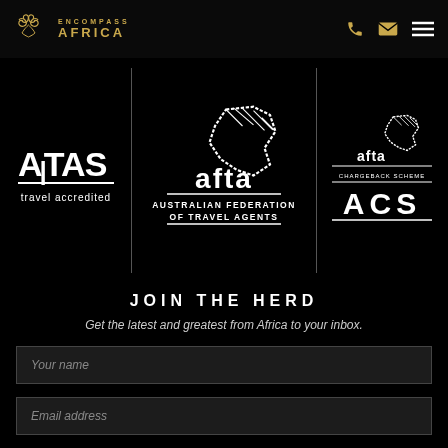Encompass Africa
[Figure (logo): ATAS travel accredited logo - white text on black background]
[Figure (logo): AFTA Australian Federation of Travel Agents logo - white text and Australia map outline on black background]
[Figure (logo): AFTA Chargeback Scheme ACS logo - white text on black background]
JOIN THE HERD
Get the latest and greatest from Africa to your inbox.
Your name
Email address